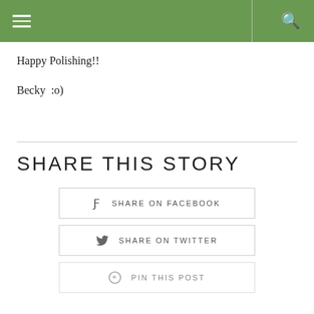Navigation header with hamburger menu and search icon
Happy Polishing!!
Becky  :o)
SHARE THIS STORY
SHARE ON FACEBOOK
SHARE ON TWITTER
PIN THIS POST